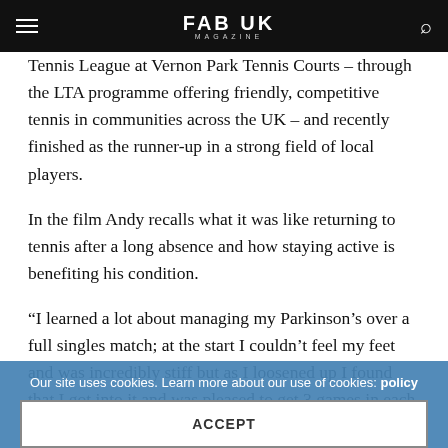FAB UK MAGAZINE
Tennis League at Vernon Park Tennis Courts – through the LTA programme offering friendly, competitive tennis in communities across the UK – and recently finished as the runner-up in a strong field of local players.
In the film Andy recalls what it was like returning to tennis after a long absence and how staying active is benefiting his condition.
“I learned a lot about managing my Parkinson’s over a full singles match; at the start I couldn’t feel my feet and was incredibly stiff but as I loosened up I found that I got into it and was pleased to get 3 games in each set from a strong
Our site uses cookies. Learn more about our use of cookies: policy
ACCEPT